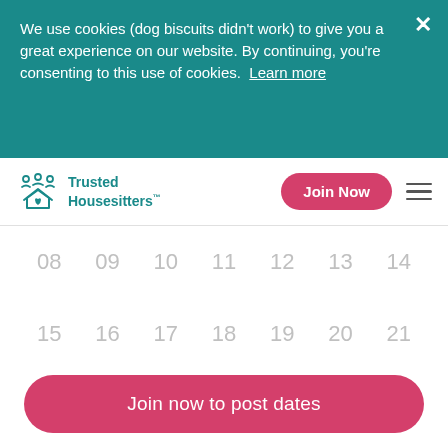We use cookies (dog biscuits didn't work) to give you a great experience on our website. By continuing, you're consenting to this use of cookies.  Learn more
Trusted Housesitters™
[Figure (screenshot): Calendar grid showing dates 08-14, 15-21, 22-28, and 29-31. Dates 29 and 30 are highlighted with a teal/green background. Date 31 is shown in grey.]
Join now to post dates